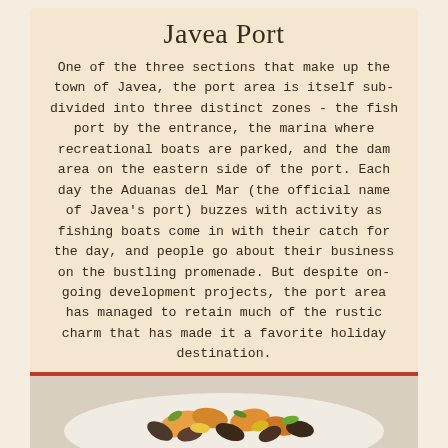Javea Port
One of the three sections that make up the town of Javea, the port area is itself sub-divided into three distinct zones - the fish port by the entrance, the marina where recreational boats are parked, and the dam area on the eastern side of the port. Each day the Aduanas del Mar (the official name of Javea's port) buzzes with activity as fishing boats come in with their catch for the day, and people go about their business on the bustling promenade. But despite on-going development projects, the port area has managed to retain much of the rustic charm that has made it a favorite holiday destination.
[Figure (photo): Photo of a seafood dish with mussels, shrimp, and vegetables on a white plate]